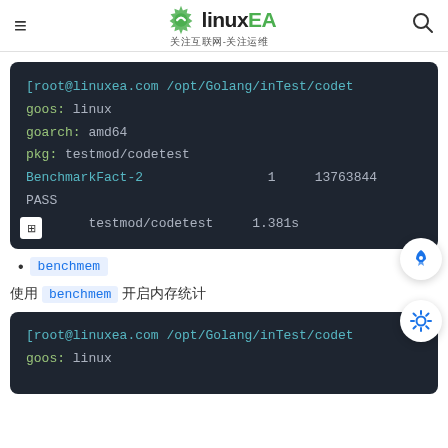linuxEA 关注互联网-关注运维
[Figure (screenshot): Terminal output showing: [root@linuxea.com /opt/Golang/inTest/codet...  goos: linux  goarch: amd64  pkg: testmod/codetest  BenchmarkFact-2    1    13763844...  PASS  ok    testmod/codetest    1.381s]
benchmem
使用 benchmem 开启内存统计
[Figure (screenshot): Terminal output showing: [root@linuxea.com /opt/Golang/inTest/codet...  goos: linux  goarch: amd64...]